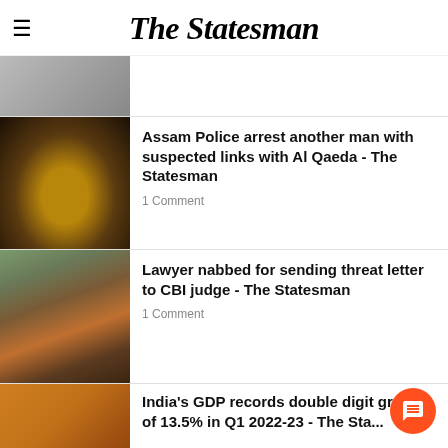The Statesman
[Figure (photo): Partial cropped image at top of news list]
Assam Police arrest another man with suspected links with Al Qaeda - The Statesman
1 Comment
Lawyer nabbed for sending threat letter to CBI judge - The Statesman
1 Comment
India's GDP records double digit growth of 13.5% in Q1 2022-23 - The Statesman